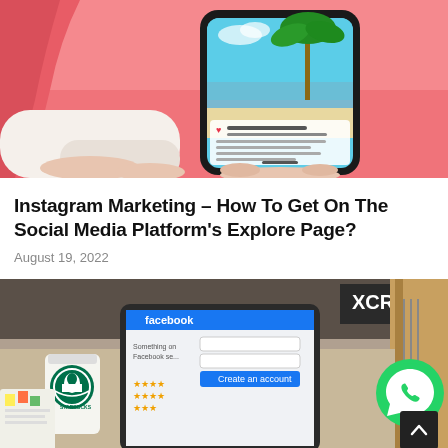[Figure (photo): Hand holding a smartphone displaying an Instagram post with a tropical beach and palm tree, against a pink background]
Instagram Marketing – How To Get On The Social Media Platform's Explore Page?
August 19, 2022
[Figure (photo): A tablet displaying a Facebook 'Create an account' page, a Starbucks coffee cup, notebooks with sticky notes, a guitar, and a WhatsApp icon overlay. A scroll-to-top arrow button visible in bottom right.]